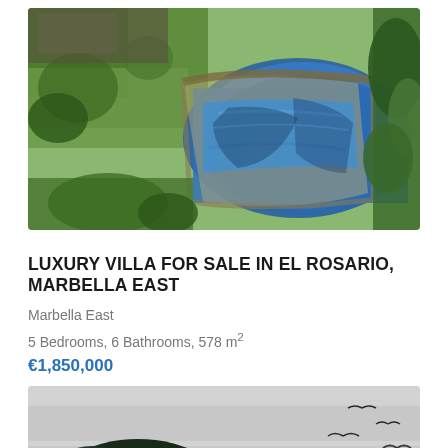[Figure (photo): Aerial/overhead photo of a luxury villa with swimming pool surrounded by lush green gardens and landscaping]
LUXURY VILLA FOR SALE IN EL ROSARIO, MARBELLA EAST
Marbella East
5 Bedrooms, 6 Bathrooms, 578 m²
€1,850,000
[Figure (photo): Photo of trees and birds in a grey sky, partially visible at bottom of page]